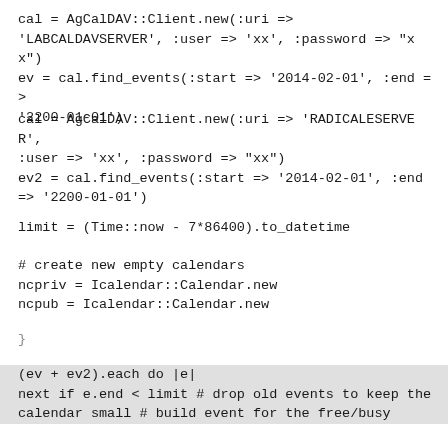cal = AgCalDAV::Client.new(:uri =>
'LABCALDAVSERVER', :user => 'xx', :password => "xx")
ev = cal.find_events(:start => '2014-02-01', :end =>
'2200-01-01')
cal = AgCalDAV::Client.new(:uri => 'RADICALESERVER',
:user => 'xx', :password => "xx")
ev2 = cal.find_events(:start => '2014-02-01', :end
=> '2200-01-01')
limit = (Time::now - 7*86400).to_datetime
# create new empty calendars
ncpriv = Icalendar::Calendar.new
ncpub = Icalendar::Calendar.new
}
(ev + ev2).each do |e|
next if e.end < limit # drop old events to keep the
calendar small # build event for the free/busy